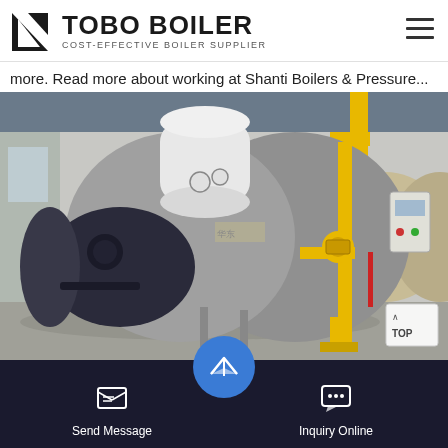TOBO BOILER — COST-EFFECTIVE BOILER SUPPLIER
more. Read more about working at Shanti Boilers & Pressure...
[Figure (photo): Industrial steam boilers inside a factory facility, showing large horizontal boiler vessels with yellow piping, pressure gauges, and a dark-colored burner assembly.]
Industrial boiler
[Figure (screenshot): WhatsApp contact banner in green with WhatsApp logo and text, and bottom navigation bar with Send Message, email/envelope icon, and Inquiry Online buttons on a dark background. Partial text reading 'ssels Pvt' visible.]